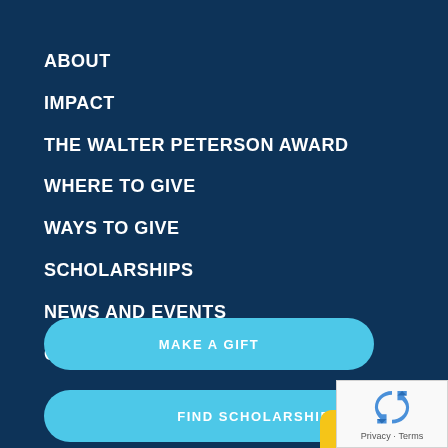ABOUT
IMPACT
THE WALTER PETERSON AWARD
WHERE TO GIVE
WAYS TO GIVE
SCHOLARSHIPS
NEWS AND EVENTS
CONTACT
MAKE A GIFT
FIND SCHOLARSHIPS
MAKE A GIFT
[Figure (logo): reCAPTCHA logo with Privacy and Terms text]